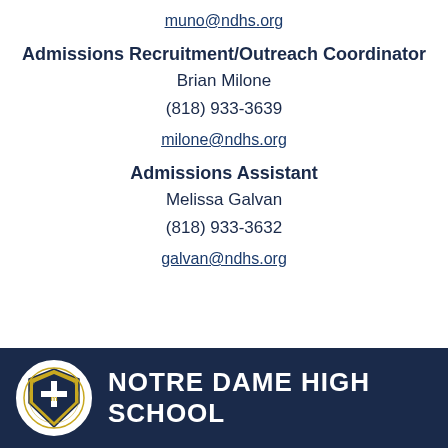muno@ndhs.org
Admissions Recruitment/Outreach Coordinator
Brian Milone
(818) 933-3639
milone@ndhs.org
Admissions Assistant
Melissa Galvan
(818) 933-3632
galvan@ndhs.org
NOTRE DAME HIGH SCHOOL